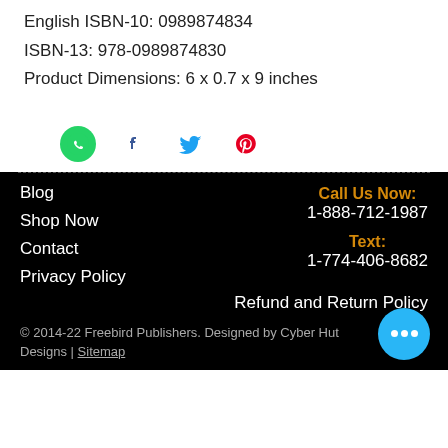English ISBN-10: 0989874834
ISBN-13: 978-0989874830
Product Dimensions: 6 x 0.7 x 9 inches
[Figure (other): Social media share icons: WhatsApp (green), Facebook (blue f), Twitter (blue bird), Pinterest (red P)]
Blog
Shop Now
Contact
Privacy Policy
Call Us Now: 1-888-712-1987
Text: 1-774-406-8682
Refund and Return Policy
© 2014-22 Freebird Publishers. Designed by Cyber Hut Designs | Sitemap